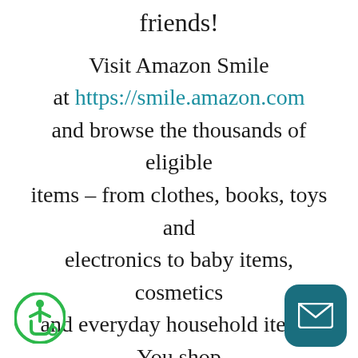friends!
Visit Amazon Smile at https://smile.amazon.com and browse the thousands of eligible items – from clothes, books, toys and electronics to baby items, cosmetics and everyday household items. You shop and a portion of your purchase goes directly to Independence, Inc.! Just search the list of charities and select Independence, Inc. It's that simp
[Figure (illustration): Green circle accessibility icon (wheelchair/person symbol) in bottom-left corner]
[Figure (illustration): Teal rounded-rectangle email/envelope button in bottom-right corner]